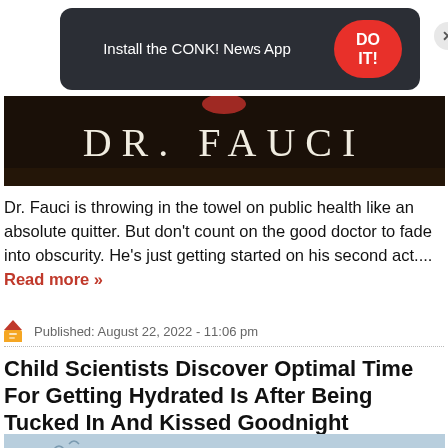[Figure (other): Dark banner ad for CONK! News App with red 'DO IT!' button and X close button]
[Figure (photo): Photo showing a nameplate reading 'DR. FAUCI' against a dark background]
Dr. Fauci is throwing in the towel on public health like an absolute quitter. But don't count on the good doctor to fade into obscurity. He's just getting started on his second act.... Read more »
Published: August 22, 2022 - 11:06 pm
Child Scientists Discover Optimal Time For Getting Hydrated Is After Being Tucked In And Kissed Goodnight
[Figure (photo): Photo of two children against a light blue sky background]